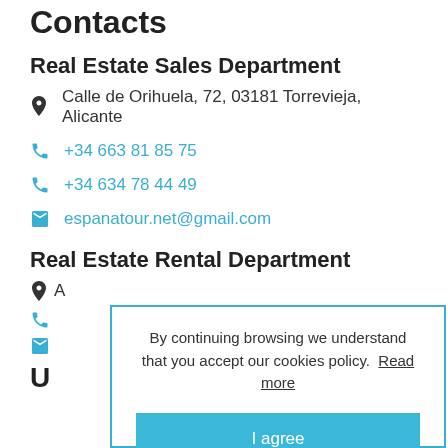Contacts
Real Estate Sales Department
📍 Calle de Orihuela, 72, 03181 Torrevieja, Alicante
📞 +34 663 81 85 75
📞 +34 634 78 44 49
✉ espanatour.net@gmail.com
Real Estate Rental Department
By continuing browsing we understand that you accept our cookies policy. Read more
I agree